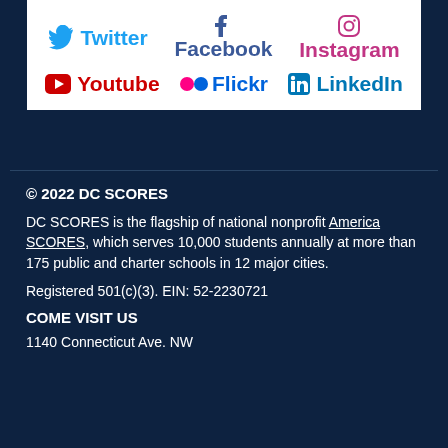[Figure (infographic): Social media links box with icons for Twitter, Facebook, Instagram, Youtube, Flickr, LinkedIn on white background]
© 2022 DC SCORES
DC SCORES is the flagship of national nonprofit America SCORES, which serves 10,000 students annually at more than 175 public and charter schools in 12 major cities.
Registered 501(c)(3). EIN: 52-2230721
COME VISIT US
1140 Connecticut Ave. NW